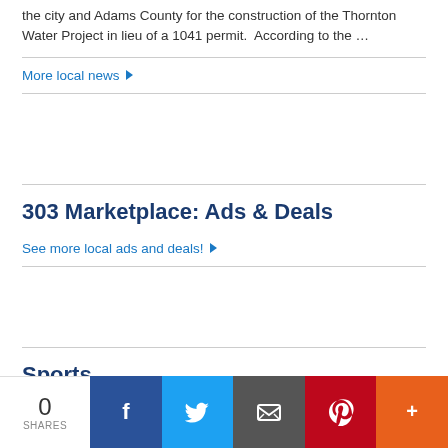the city and Adams County for the construction of the Thornton Water Project in lieu of a 1041 permit.  According to the …
More local news ▶
303 Marketplace: Ads & Deals
See more local ads and deals! ▶
Sports
More sports ▶
0 SHARES | Facebook | Twitter | Email | Pinterest | More